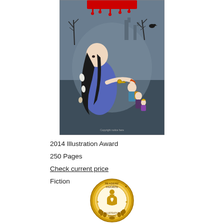[Figure (illustration): Book cover illustration showing a girl in a blue dress with long black hair reaching toward smaller fairy-tale characters, set against a dark gothic background with bare trees, a crow, and a castle silhouette. Red dripping text at the top.]
2014 Illustration Award
250 Pages
Check current price
Fiction
[Figure (logo): Readers' Favorite award badge — a circular gold/brown seal with the text READERS' FAVORITE around the top, a central emblem with a book/heart motif, stars at the sides, and laurel wreath at the bottom. The word ILLUSTRATION and AWARD appear at the bottom of the circle.]